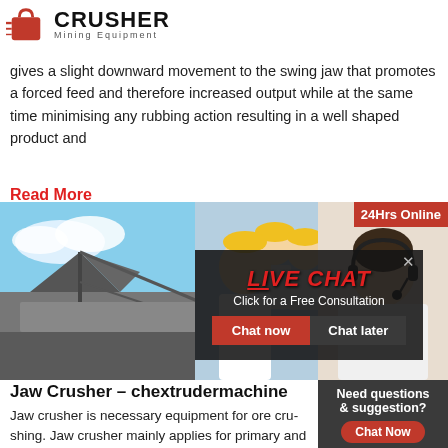[Figure (logo): Crusher Mining Equipment logo with red shopping bag icon and bold CRUSHER text]
gives a slight downward movement to the swing jaw that promotes a forced feed and therefore increased output while at the same time minimising any rubbing action resulting in a well shaped product and
Read More
[Figure (photo): Industrial mining equipment / conveyor structure against blue sky]
[Figure (photo): Live chat overlay with woman in hard hat and chat buttons]
[Figure (photo): Customer service agent with headset on right sidebar]
24Hrs Online
Jaw Crusher – chextrudermachine
Jaw crusher is necessary equipment for ore crushing. Jaw crusher mainly applies for primary and crude crushing of all kinds of hard rocks and block materials. Jaw crusher has been widely used in the fields of building materials, metallurgy, ore, water conservancy, construction, hydropower, etc. Jaw crusher has great advantages of structure
Need questions & suggestion?
Chat Now
Enquiry
limingjlmofen@sina.com